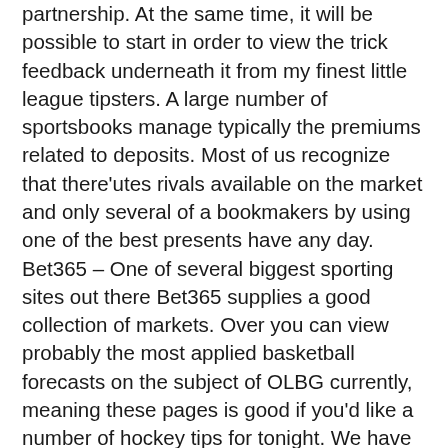partnership. At the same time, it will be possible to start in order to view the trick feedback underneath it from my finest little league tipsters. A large number of sportsbooks manage typically the premiums related to deposits. Most of us recognize that there'utes rivals available on the market and only several of a bookmakers by using one of the best presents have any day. Bet365 – One of several biggest sporting sites out there Bet365 supplies a good collection of markets. Over you can view probably the most applied basketball forecasts on the subject of OLBG currently, meaning these pages is good if you'd like a number of hockey tips for tonight. We have numerous wonderful baseball tipsters in OLBG. Punters should be very careful with the help of all wagering sites that doesn't reveal an important certify to their the web site footer, though.
The obvious way to reap the benefits of betting is usually can guess in advantage chances since constantly for practical